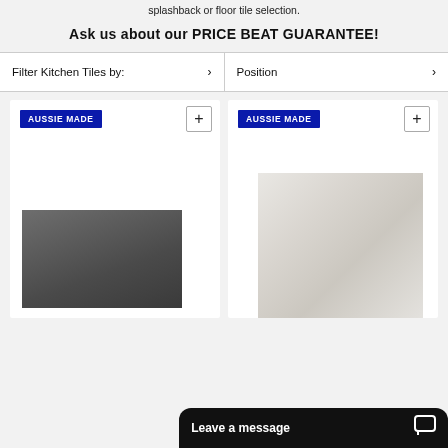splashback or floor tile selection.
Ask us about our PRICE BEAT GUARANTEE!
Filter Kitchen Tiles by:
Position
[Figure (photo): Product card 1 with 'AUSSIE MADE' badge and dark grey tile image]
[Figure (photo): Product card 2 with 'AUSSIE MADE' badge and light marble-look tile image]
Leave a message